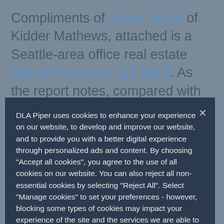Compliments of Jason Smith of Kidder Mathews, attached is a Seattle-area office real estate market review for Q3 2012. As the report notes, compared with the first half of the year, the Seattle office market was very...
DLA Piper uses cookies to enhance your experience on our website, to develop and improve our website, and to provide you with a better digital experience through personalized ads and content. By choosing “Accept all cookies”, you agree to the use of all cookies on our website. You can also reject all non-essential cookies by selecting “Reject All”. Select “Manage cookies” to set your preferences - however, blocking some types of cookies may impact your experience of the site and the services we are able to offer. Please note, as stated in the Cookie Policy, third parties may also set a cookie. You can learn more about how DLA Piper and third parties use your data by reading our Privacy Policy and Cookie Policy.